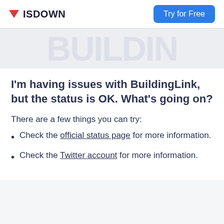ISDOWN | Try for Free
I'm having issues with BuildingLink, but the status is OK. What's going on?
There are a few things you can try:
Check the official status page for more information.
Check the Twitter account for more information.